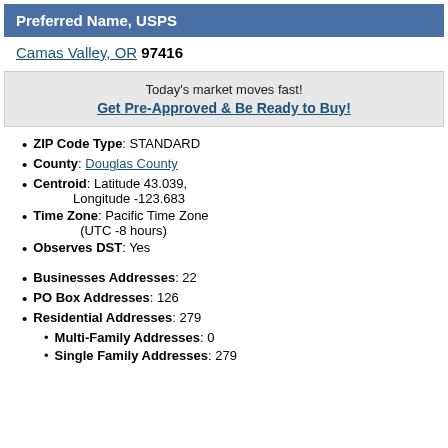Preferred Name, USPS
Camas Valley, OR 97416
Today's market moves fast!
Get Pre-Approved & Be Ready to Buy!
ZIP Code Type: STANDARD
County: Douglas County
Centroid: Latitude 43.039, Longitude -123.683
Time Zone: Pacific Time Zone (UTC -8 hours)
Observes DST: Yes
Businesses Addresses: 22
PO Box Addresses: 126
Residential Addresses: 279
Multi-Family Addresses: 0
Single Family Addresses: 279